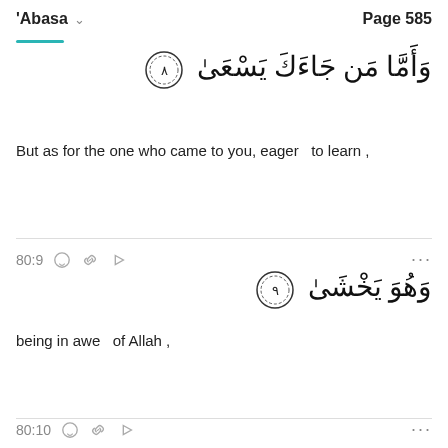'Abasa  Page 585
[Figure (other): Arabic Quran verse 80:8 with ornamental verse number circle: وَأَمَّا مَن جَاءَكَ يَسْعَىٰ ٨]
But as for the one who came to you, eager   to learn ,
80:9
[Figure (other): Arabic Quran verse 80:9 with ornamental verse number circle: وَهُوَ يَخْشَىٰ ٩]
being in awe   of Allah ,
80:10